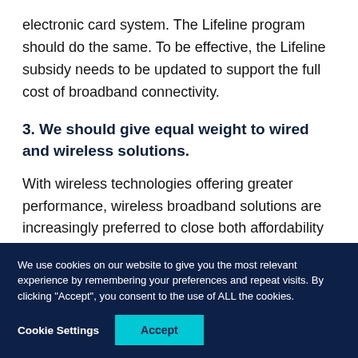electronic card system. The Lifeline program should do the same. To be effective, the Lifeline subsidy needs to be updated to support the full cost of broadband connectivity.
3. We should give equal weight to wired and wireless solutions.
With wireless technologies offering greater performance, wireless broadband solutions are increasingly preferred to close both affordability
We use cookies on our website to give you the most relevant experience by remembering your preferences and repeat visits. By clicking "Accept", you consent to the use of ALL the cookies.
Cookie Settings
Accept